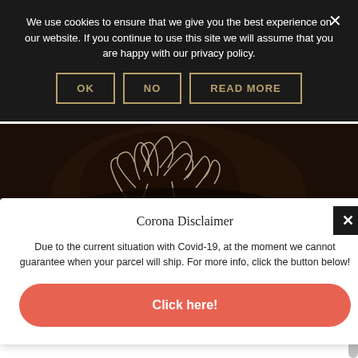We use cookies to ensure that we give you the best experience on our website. If you continue to use this site we will assume that you are happy with our privacy policy.
OK | NO | READ MORE
[Figure (photo): Dark artistic photo showing an abstract sculptural or coral-like white structure against a very dark brown/black background.]
Corona Disclaimer
Due to the current situation with Covid-19, at the moment we cannot guarantee when your parcel will ship. For more info, click the button below!
Click here!